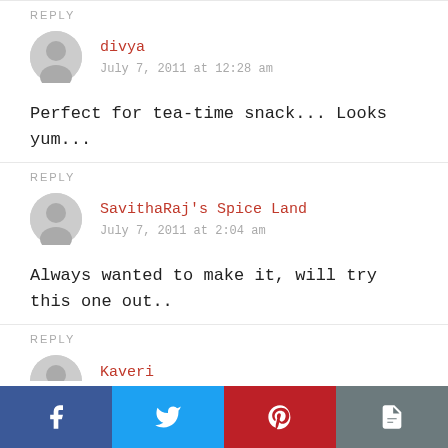REPLY
divya
July 7, 2011 at 12:28 am
Perfect for tea-time snack... Looks yum...
REPLY
SavithaRaj's Spice Land
July 7, 2011 at 2:04 am
Always wanted to make it, will try this one out..
REPLY
Kaveri